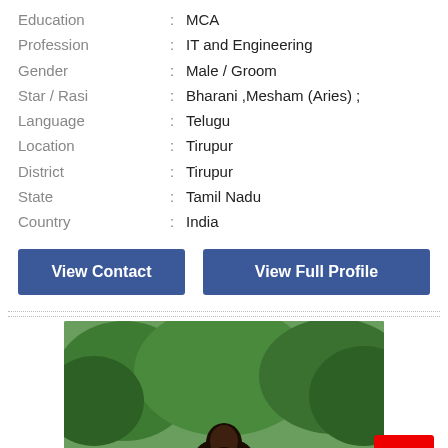| Field | : | Value |
| --- | --- | --- |
| Education | : | MCA |
| Profession | : | IT and Engineering |
| Gender | : | Male / Groom |
| Star / Rasi | : | Bharani ,Mesham (Aries) ; |
| Language | : | Telugu |
| Location | : | Tirupur |
| District | : | Tirupur |
| State | : | Tamil Nadu |
| Country | : | India |
View Contact
View Full Profile
[Figure (photo): A young man standing outdoors in a lush green forested area with a stream/waterfall in the background]